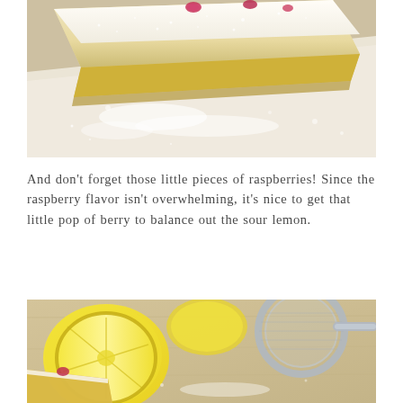[Figure (photo): Close-up photo of lemon raspberry bar squares dusted with powdered sugar on white parchment paper, showing raspberry filling visible in the top layer.]
And don't forget those little pieces of raspberries! Since the raspberry flavor isn't overwhelming, it's nice to get that little pop of berry to balance out the sour lemon.
[Figure (photo): Photo of lemon raspberry bars with a halved lemon and whole lemon in the background, and a metal sifter/strainer in the upper right, dusted powdered sugar visible on the bars.]